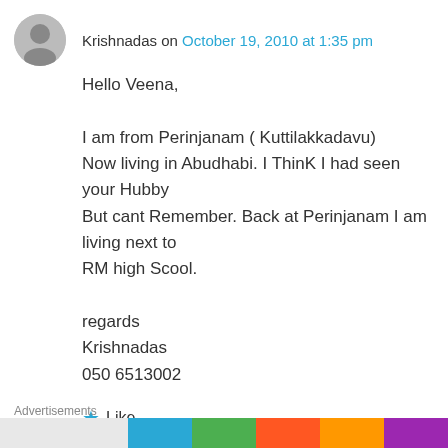Krishnadas on October 19, 2010 at 1:35 pm
Hello Veena,

I am from Perinjanam ( Kuttilakkadavu)
Now living in Abudhabi. I ThinK I had seen your Hubby
But cant Remember. Back at Perinjanam I am living next to
RM high Scool.

regards
Krishnadas
050 6513002
Like
Advertisements